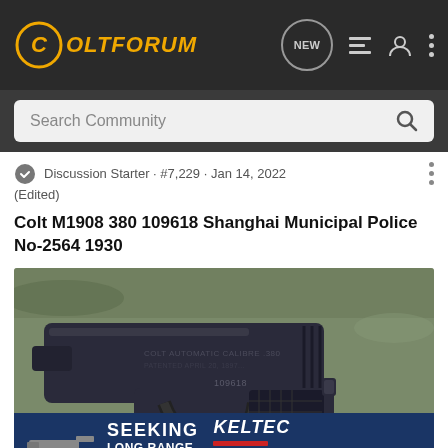ColtForum
Discussion Starter · #7,229 · Jan 14, 2022 (Edited)
Colt M1908 380 109618 Shanghai Municipal Police No-2564 1930
[Figure (photo): Photograph of a Colt M1908 380 pistol serial number 109618 resting on a natural wood/leaf background, shown in left-side profile view. A Kel-Tec CP33 advertisement banner overlays the bottom of the image.]